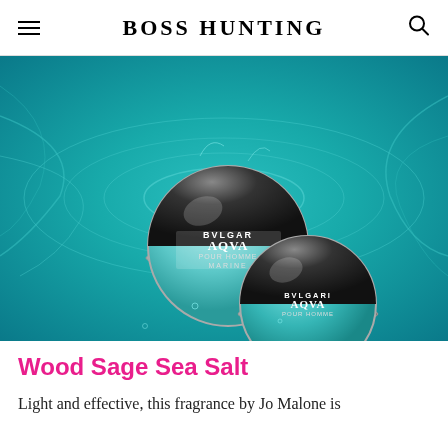BOSS HUNTING
[Figure (photo): Two round Bvlgari Aqva Pour Homme Marine fragrance bottles submerged in swirling teal/turquoise water, photographed from above.]
Wood Sage Sea Salt
Light and effective, this fragrance by Jo Malone is